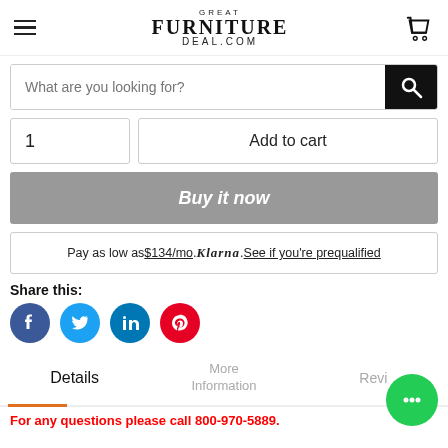Great Furniture Deal.com
What are you looking for?
1   Add to cart
Buy it now
Pay as low as $134/mo. Klarna. See if you're prequalified
Share this:
[Figure (infographic): Social share icons: Facebook (blue circle), Twitter (light blue circle), LinkedIn (blue circle), Pinterest (red circle)]
Details   More Information   Revi...
For any questions please call 800-970-5889.